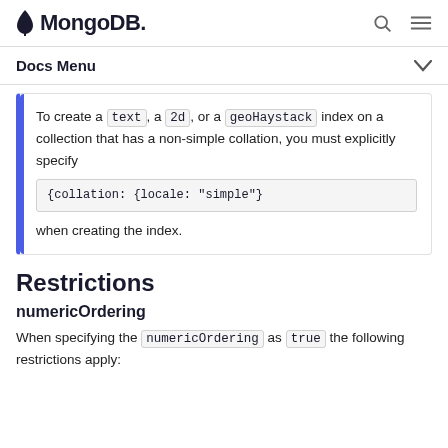MongoDB
Docs Menu
To create a text, a 2d, or a geoHaystack index on a collection that has a non-simple collation, you must explicitly specify {collation: {locale: "simple"} when creating the index.
Restrictions
numericOrdering
When specifying the numericOrdering as true the following restrictions apply: